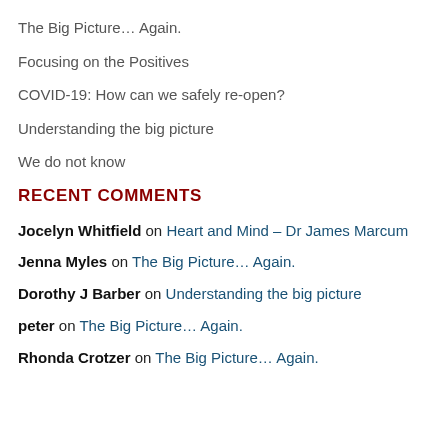The Big Picture… Again.
Focusing on the Positives
COVID-19: How can we safely re-open?
Understanding the big picture
We do not know
RECENT COMMENTS
Jocelyn Whitfield on Heart and Mind – Dr James Marcum
Jenna Myles on The Big Picture… Again.
Dorothy J Barber on Understanding the big picture
peter on The Big Picture… Again.
Rhonda Crotzer on The Big Picture… Again.